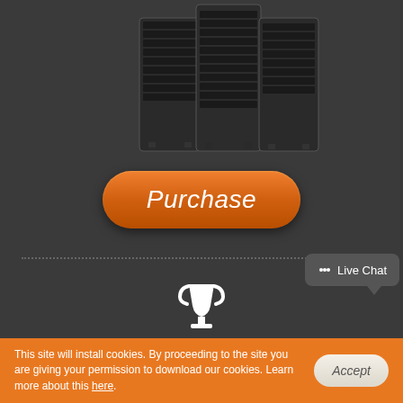[Figure (photo): Server rack units at the top of the page, dark background]
Purchase
[Figure (illustration): Dotted horizontal divider line]
[Figure (illustration): White trophy/cup icon]
Service guarantees
All of our plans come with absolutely no setup service fees along with a 30 day
Live Chat
This site will install cookies. By proceeding to the site you are giving your permission to download our cookies. Learn more about this here.
Accept